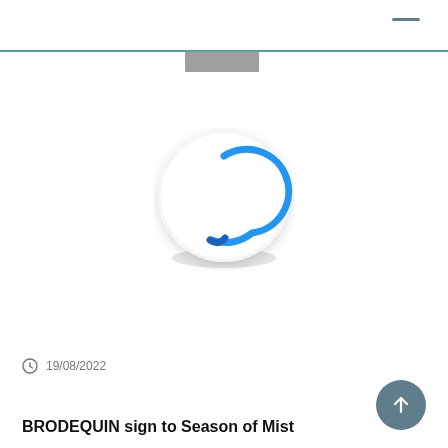[Figure (screenshot): Website navigation bar with a dash/menu icon in the top right and a teal horizontal rule below. A gray rectangle sits just below the teal line, resembling a navigation or search element.]
[Figure (logo): Circular Season of Mist logo: a hand-drawn style open circle in blue on a white circular background with soft shadow, resembling a loading spinner or brand mark.]
19/08/2022
BRODEQUIN sign to Season of Mist